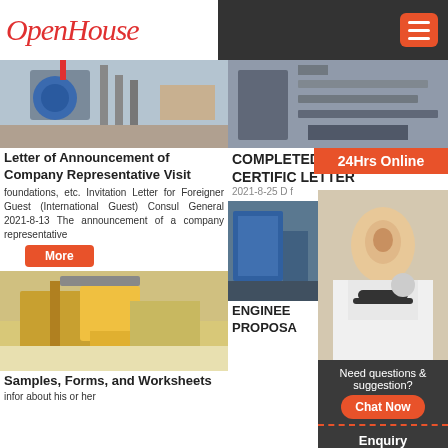OpenHouse
[Figure (photo): Construction machinery photo - blue pump/valve equipment on scaffolding]
Letter of Announcement of Company Representative Visit
foundations, etc. Invitation Letter for Foreigner Guest (International Guest) Consul General 2021-8-13 The announcement of a company representative
[Figure (photo): Industrial conveyor belt / mining plant infrastructure]
COMPLETED CONSTRUCTION CERTIFICATION LETTER
2021-8-25 D f
[Figure (photo): Mining/quarrying machinery - large yellow earth-moving equipment]
Samples, Forms, and Worksheets
infor about his or her
[Figure (photo): Blue industrial equipment/machinery photo]
ENGINEERING PROPOSAL
24Hrs Online
Need questions & suggestion?
Chat Now
Enquiry
mumumugoods